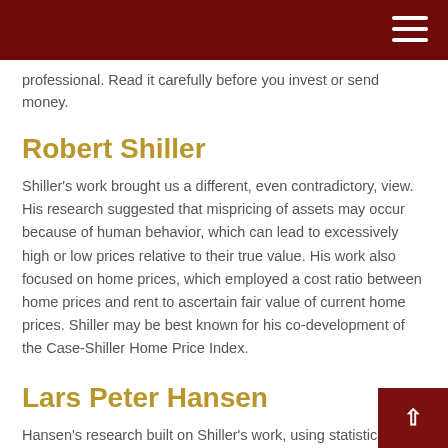professional. Read it carefully before you invest or send money.
Robert Shiller
Shiller's work brought us a different, even contradictory, view. His research suggested that mispricing of assets may occur because of human behavior, which can lead to excessively high or low prices relative to their true value. His work also focused on home prices, which employed a cost ratio between home prices and rent to ascertain fair value of current home prices. Shiller may be best known for his co-development of the Case-Shiller Home Price Index.
Lars Peter Hansen
Hansen's research built on Shiller's work, using statistical models to determine what drove market volatility. His work was more esoteric, but well valued by other economists. He concluded that the mispricings that Shiller had identified were connected to